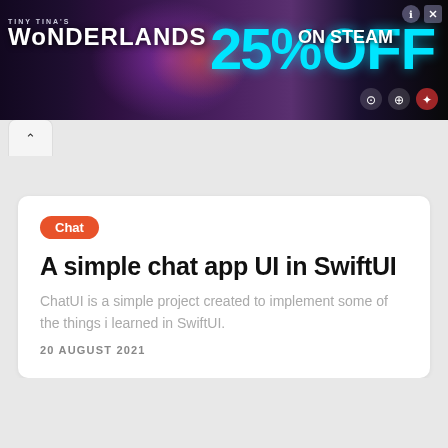[Figure (other): Tiny Tina's Wonderlands advertisement banner with dark fantasy background, showing '25% OFF on Steam' promotional text in cyan and white, with Steam/social media icons]
Chat
A simple chat app UI in SwiftUI
ChatUI is a simple project created to implement some of the things i learned in SwiftUI.
20 AUGUST 2021